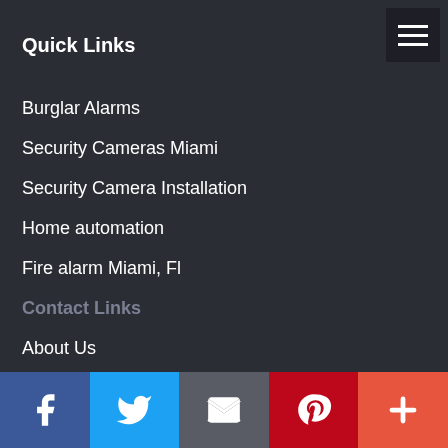Quick Links
Burglar Alarms
Security Cameras Miami
Security Camera Installation
Home automation
Fire alarm Miami, Fl
Contact Links
About Us
Contact us
Remote Support
Job opportunity
Sitemap
[Figure (infographic): Social media sharing bar with Facebook, Twitter, Email, Pinterest, and More buttons]